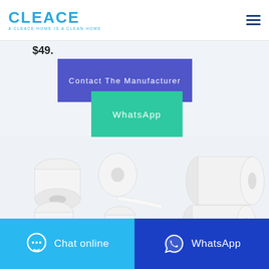[Figure (logo): CLEACE logo in blue with tagline 'A CLEACE HOME IS A CLEAN HOME']
$49.
Contact The Manufacturer
WhatsApp
[Figure (photo): Multiple white toilet paper and paper roll products arranged on light blue background]
Chat online
WhatsApp